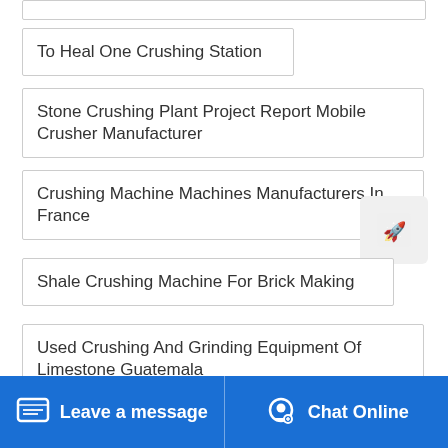To Heal One Crushing Station
Stone Crushing Plant Project Report Mobile Crusher Manufacturer
Crushing Machine Machines Manufacturers In France
Shale Crushing Machine For Brick Making
Used Crushing And Grinding Equipment Of Limestone Guatemala
Leave a message  Chat Online